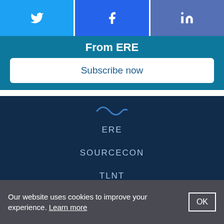[Figure (other): Social sharing button bar with Twitter, Facebook, and LinkedIn buttons]
From ERE
Subscribe now
ERE
SOURCECON
TLNT
About ERE Media
Contact
Our website uses cookies to improve your experience. Learn more  OK